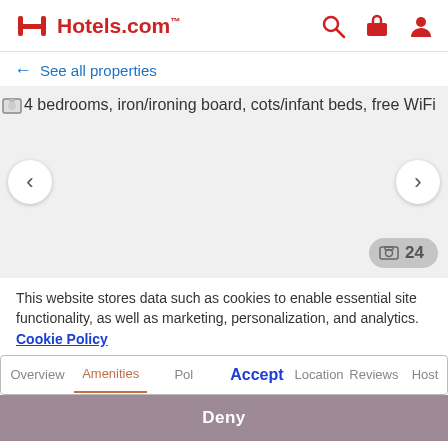Hotels.com
← See all properties
[Figure (screenshot): Hotel property image area showing alt text: 4 bedrooms, iron/ironing board, cots/infant beds, free WiFi. Left and right navigation arrows. Photo count badge showing 24.]
This website stores data such as cookies to enable essential site functionality, as well as marketing, personalization, and analytics. Cookie Policy
Overview | Amenities | Policy | Location | Reviews | Host — Accept button overlay
Deny
Entire chalet · Private host
cottage in a quiet residential...